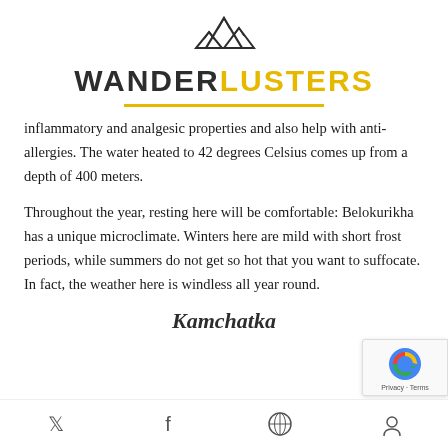[Figure (logo): Wanderlusters logo: mountain peaks icon above the brand name WANDER in dark gray and LUSTERS in gold/yellow]
inflammatory and analgesic properties and also help with anti-allergies. The water heated to 42 degrees Celsius comes up from a depth of 400 meters.
Throughout the year, resting here will be comfortable: Belokurikha has a unique microclimate. Winters here are mild with short frost periods, while summers do not get so hot that you want to suffocate. In fact, the weather here is windless all year round.
Kamchatka